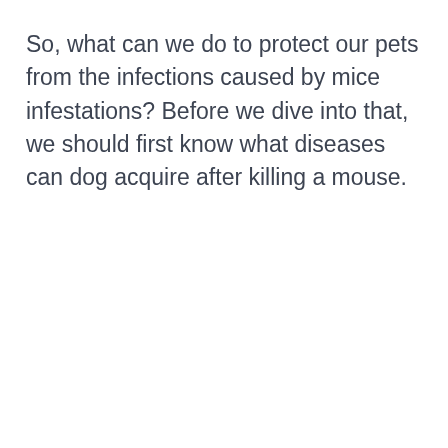So, what can we do to protect our pets from the infections caused by mice infestations? Before we dive into that, we should first know what diseases can dog acquire after killing a mouse.